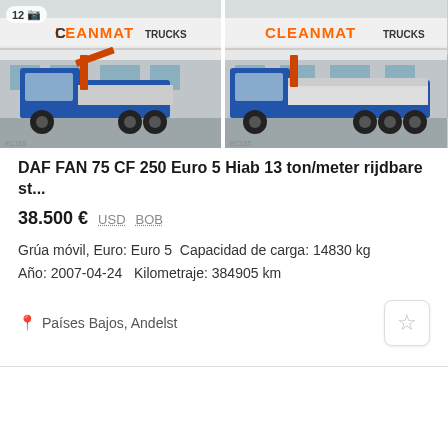[Figure (photo): Two photos of a blue DAF truck with crane at CLEANMAT TRUCKS dealership, side by side. Left photo shows badge '12' with camera icon. A partial third photo is visible on right edge.]
DAF FAN 75 CF 250 Euro 5 Hiab 13 ton/meter rijdbare st...
38.500 €  USD  BOB
Grúa móvil, Euro: Euro 5  Capacidad de carga: 14830 kg
Año: 2007-04-24   Kilometraje: 384905 km
Países Bajos, Andelst